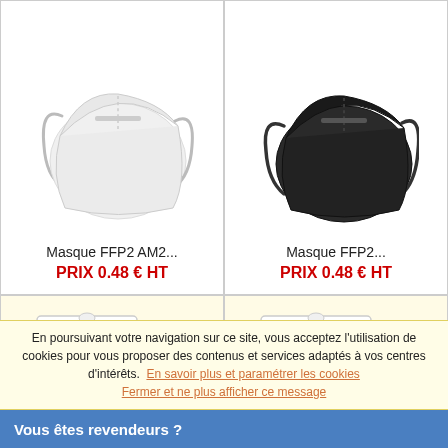[Figure (photo): White FFP2 mask product photo]
Masque FFP2 AM2...
PRIX 0.48 € HT
[Figure (photo): Black FFP2 mask product photo]
Masque FFP2...
PRIX 0.48 € HT
[Figure (photo): NOG product box - bottom left partial]
[Figure (photo): NOG product box pack de 10 - bottom right partial]
En poursuivant votre navigation sur ce site, vous acceptez l'utilisation de cookies pour vous proposer des contenus et services adaptés à vos centres d'intérêts.
Vous êtes revendeurs ?